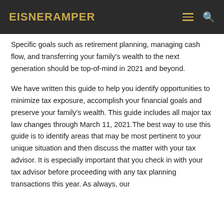EisnerAmper
Specific goals such as retirement planning, managing cash flow, and transferring your family's wealth to the next generation should be top-of-mind in 2021 and beyond.
We have written this guide to help you identify opportunities to minimize tax exposure, accomplish your financial goals and preserve your family's wealth. This guide includes all major tax law changes through March 11, 2021.The best way to use this guide is to identify areas that may be most pertinent to your unique situation and then discuss the matter with your tax advisor. It is especially important that you check in with your tax advisor before proceeding with any tax planning transactions this year. As always, our